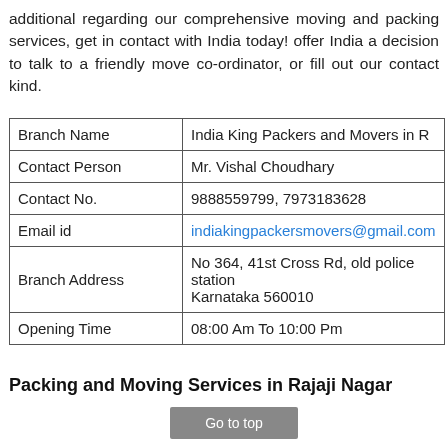additional regarding our comprehensive moving and packing services, get in contact with India today! offer India a decision to talk to a friendly move co-ordinator, or fill out our contact kind.
| Branch Name | India King Packers and Movers in R... |
| --- | --- |
| Contact Person | Mr. Vishal Choudhary |
| Contact No. | 9888559799, 7973183628 |
| Email id | indiakingpackersmovers@gmail.com |
| Branch Address | No 364, 41st Cross Rd, old police station Karnataka 560010 |
| Opening Time | 08:00 Am To 10:00 Pm |
Packing and Moving Services in Rajaji Nagar